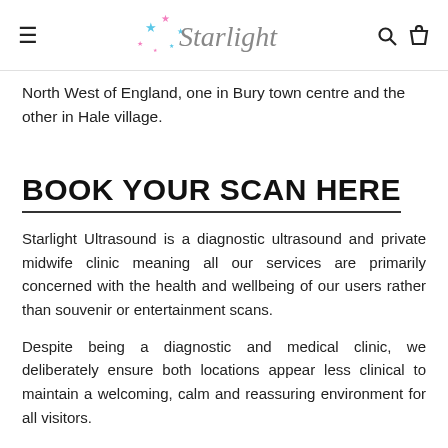Starlight (logo with hamburger, search, and bag icons)
North West of England, one in Bury town centre and the other in Hale village.
BOOK YOUR SCAN HERE
Starlight Ultrasound is a diagnostic ultrasound and private midwife clinic meaning all our services are primarily concerned with the health and wellbeing of our users rather than souvenir or entertainment scans.
Despite being a diagnostic and medical clinic, we deliberately ensure both locations appear less clinical to maintain a welcoming, calm and reassuring environment for all visitors.
Customers and patients can access a full range of services from fertility advice, birth plans and parent education classes to